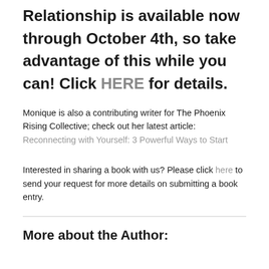Relationship is available now through October 4th, so take advantage of this while you can! Click HERE for details.
Monique is also a contributing writer for The Phoenix Rising Collective; check out her latest article: Reconnecting with Yourself: 3 Powerful Ways to Start
Interested in sharing a book with us? Please click here to send your request for more details on submitting a book entry.
More about the Author: